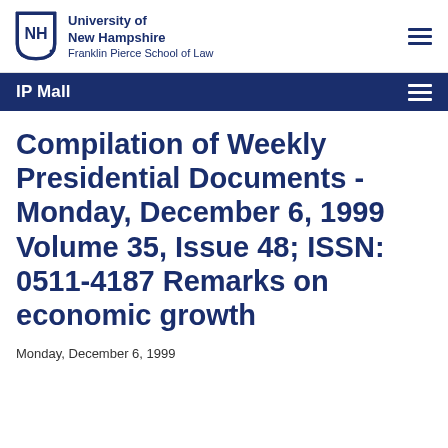University of New Hampshire Franklin Pierce School of Law
IP Mall
Compilation of Weekly Presidential Documents - Monday, December 6, 1999 Volume 35, Issue 48; ISSN: 0511-4187 Remarks on economic growth
Monday, December 6, 1999